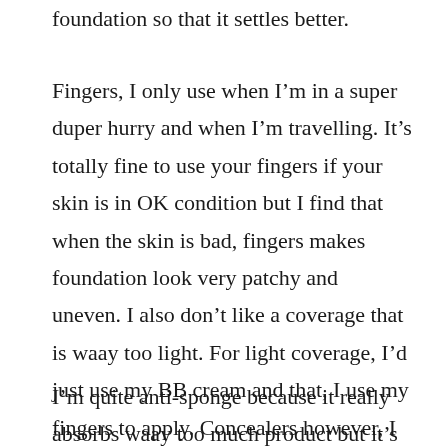foundation so that it settles better.
Fingers, I only use when I’m in a super duper hurry and when I’m travelling. It’s totally fine to use your fingers if your skin is in OK condition but I find that when the skin is bad, fingers makes foundation look very patchy and uneven. I also don’t like a coverage that is waay too light. For light coverage, I’d just use my BB cream and that, I use my fingers to apply. Concealers however, I always use my fingers.
I’m quite anti-sponge because it really absorbs waay too much product but it’s quite useful to